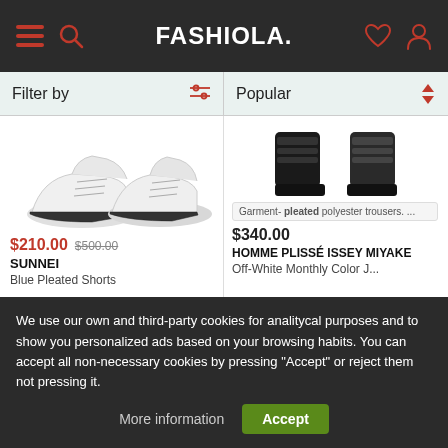FASHIOLA.
Filter by
Popular
[Figure (photo): White sneakers/shoes product image for SUNNEI Blue Pleated Shorts listing]
$210.00 $500.00
SUNNEI
Blue Pleated Shorts
[Figure (photo): Black pleated trousers product image for HOMME PLISSÉ ISSEY MIYAKE listing with tooltip: Garment- pleated polyester trousers. ...]
Garment- pleated polyester trousers. ...
$340.00
HOMME PLISSÉ ISSEY MIYAKE
Off-White Monthly Color J...
We use our own and third-party cookies for analitycal purposes and to show you personalized ads based on your browsing habits. You can accept all non-necessary cookies by pressing "Accept" or reject them not pressing it.
More information
Accept